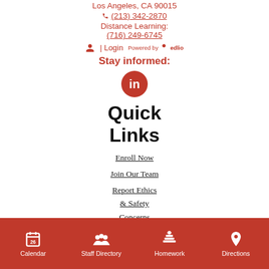Los Angeles, CA 90015
(213) 342-2870
Distance Learning: (716) 249-6745
| Login  Powered by edlio
Stay informed:
[Figure (logo): LinkedIn icon in a red circle]
Quick Links
Enroll Now
Join Our Team
Report Ethics & Safety Concerns
Calendar | Staff Directory | Homework | Directions